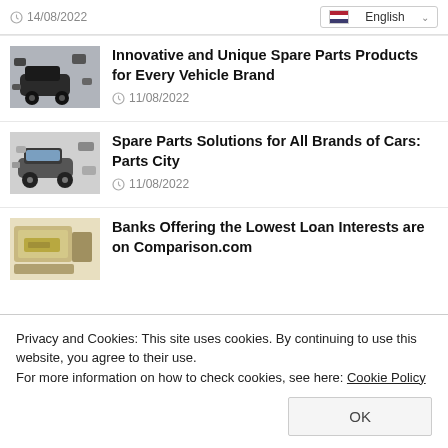14/08/2022   English
Innovative and Unique Spare Parts Products for Every Vehicle Brand
11/08/2022
[Figure (photo): Car with spare parts around it]
Spare Parts Solutions for All Brands of Cars: Parts City
11/08/2022
[Figure (photo): Car parts laid out on a surface]
Banks Offering the Lowest Loan Interests are on Comparison.com
[Figure (photo): Person counting money on a desk]
Privacy and Cookies: This site uses cookies. By continuing to use this website, you agree to their use.
For more information on how to check cookies, see here: Cookie Policy